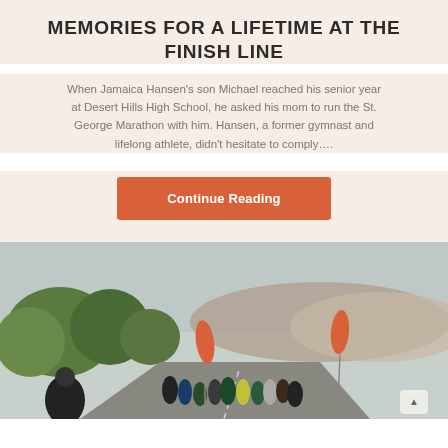MEMORIES FOR A LIFETIME AT THE FINISH LINE
When Jamaica Hansen's son Michael reached his senior year at Desert Hills High School, he asked his mom to run the St. George Marathon with him. Hansen, a former gymnast and lifelong athlete, didn't hesitate to comply….
Continue Reading
[Figure (photo): Outdoor photo of marathon runners on a road, with orange teardrop-shaped race flags/banners on the sides, green trees, hills and cloudy sky in the background.]